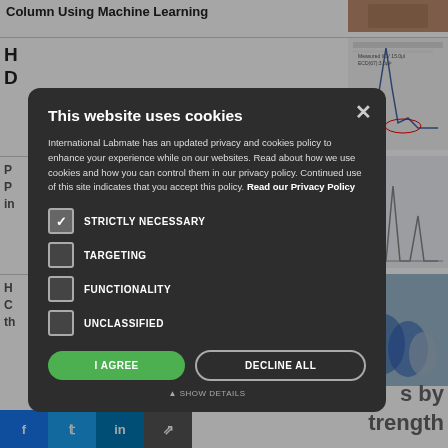Column Using Machine Learning
[Figure (photo): Thumbnail image related to article at top right]
H... S... G...
[Figure (other): Scientific chromatogram chart thumbnail]
P... P... in...
[Figure (other): Chromatogram peaks chart thumbnail]
H... C... th...
[Figure (photo): Blue laboratory glassware photo]
s by trength
[Figure (screenshot): Cookie consent modal overlay: 'This website uses cookies' - International Labmate has an updated privacy and cookies policy to enhance your experience while on our websites. Read about how we use cookies and how you can control them in our privacy policy. Continued use of this site indicates that you accept this policy. Read our Privacy Policy. Checkboxes: STRICTLY NECESSARY (checked), TARGETING, FUNCTIONALITY, UNCLASSIFIED. Buttons: I AGREE, DECLINE ALL, SHOW DETAILS.]